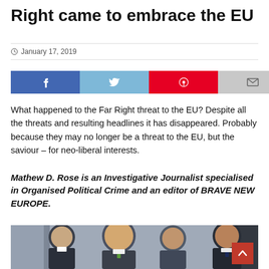Right came to embrace the EU
January 17, 2019
[Figure (infographic): Social sharing buttons: Facebook (blue), Twitter (light blue), Pinterest (red), Email (gray)]
What happened to the Far Right threat to the EU? Despite all the threats and resulting headlines it has disappeared. Probably because they may no longer be a threat to the EU, but the saviour – for neo-liberal interests.
Mathew D. Rose is an Investigative Journalist specialised in Organised Political Crime and an editor of BRAVE NEW EUROPE.
[Figure (photo): Photo of several men in suits smiling, including a man with a green tie in the center (Viktor Orbán) and a man on the right (Matteo Salvini).]